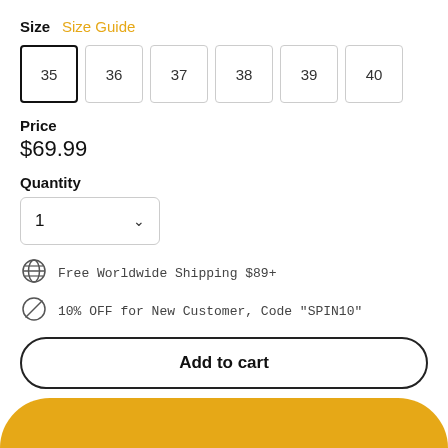Size  Size Guide
35 (selected), 36, 37, 38, 39, 40
Price
$69.99
Quantity
1 (dropdown)
Free Worldwide Shipping $89+
10% OFF for New Customer, Code "SPIN10"
Add to cart